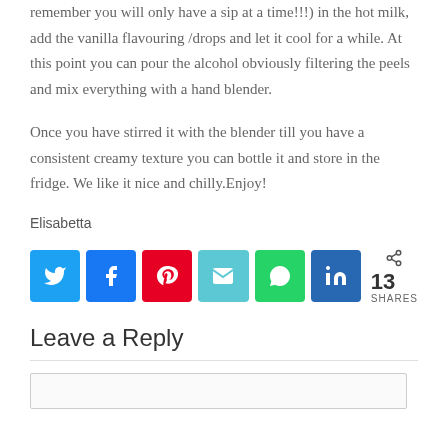remember you will only have a sip at a time!!!) in the hot milk, add the vanilla flavouring /drops and let it cool for a while. At this point you can pour the alcohol obviously filtering the peels and mix everything with a hand blender.
Once you have stirred it with the blender till you have a consistent creamy texture you can bottle it and store in the fridge. We like it nice and chilly.Enjoy!
Elisabetta
[Figure (infographic): Social share buttons row: Twitter (blue), Facebook (blue), Pinterest (red), Email (teal), WhatsApp (green), LinkedIn (dark blue), and share count showing 13 SHARES]
Leave a Reply